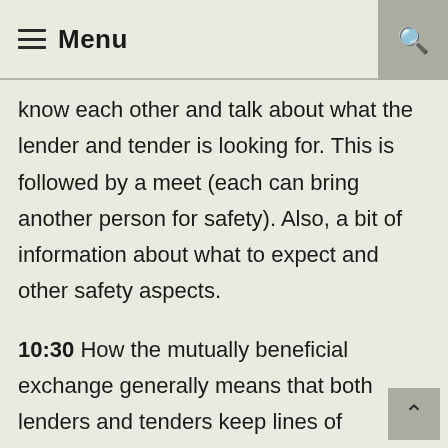≡ Menu
know each other and talk about what the lender and tender is looking for. This is followed by a meet (each can bring another person for safety). Also, a bit of information about what to expect and other safety aspects.
10:30 How the mutually beneficial exchange generally means that both lenders and tenders keep lines of communication open in order to ensure that a happy relationship is maintained.
12:30 For when minors want to get involved in a